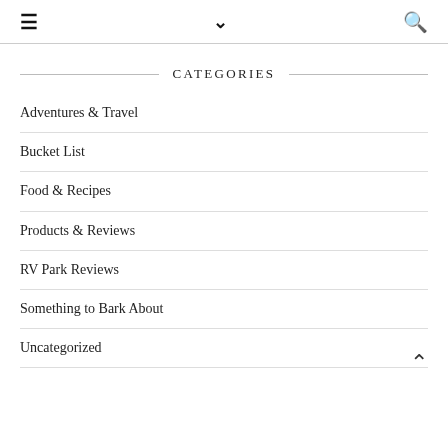≡  ∨  🔍
CATEGORIES
Adventures & Travel
Bucket List
Food & Recipes
Products & Reviews
RV Park Reviews
Something to Bark About
Uncategorized